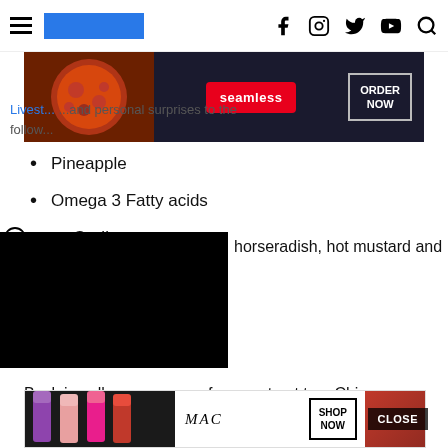Navigation header with hamburger menu, logo bar, and social icons (Facebook, Instagram, Twitter, YouTube, Search)
[Figure (screenshot): Seamless food delivery advertisement banner with pizza image, seamless red pill logo, and ORDER NOW button]
Livestock... and personal surprises to the follow...
Pineapple
Omega 3 Fatty acids
Garlic
[Figure (screenshot): Black video player overlay]
horseradish, hot mustard and
Back in college, a group of us went out to a Chinese restaurant. One of the guys had a bit of a head c... another guy da...
[Figure (screenshot): MAC cosmetics advertisement with lipstick products and SHOP NOW button]